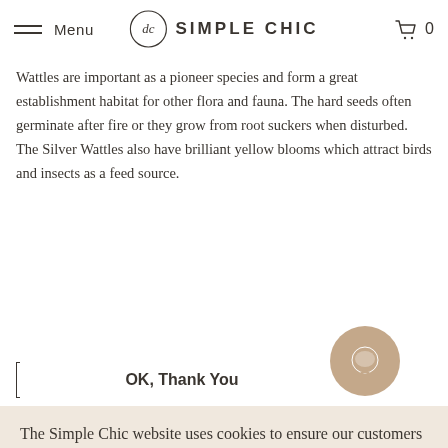Menu | SIMPLE CHIC | 0
Wattles are important as a pioneer species and form a great establishment habitat for other flora and fauna. The hard seeds often germinate after fire or they grow from root suckers when disturbed. The Silver Wattles also have brilliant yellow blooms which attract birds and insects as a feed source.
PRE-ORDER
The Simple Chic website uses cookies to ensure our customers and guests get the best experience on our website.
Read Cookie Policy
OK, Thank You